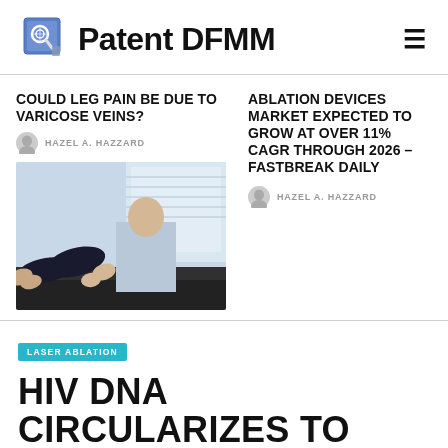Patent DFMM
COULD LEG PAIN BE DUE TO VARICOSE VEINS?
HAZEL A. HAZZARD
[Figure (photo): A medical professional examining a patient's leg]
ABLATION DEVICES MARKET EXPECTED TO GROW AT OVER 11% CAGR THROUGH 2026 – FASTBREAK DAILY
HAZEL A. HAZZARD
LASER ABLATION
HIV DNA CIRCULARIZES TO